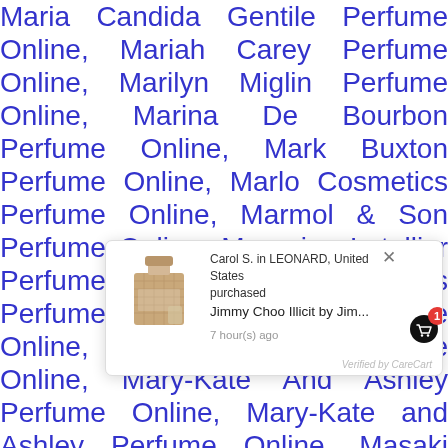Maria Candida Gentile Perfume Online, Mariah Carey Perfume Online, Marilyn Miglin Perfume Online, Marina De Bourbon Perfume Online, Mark Buxton Perfume Online, Marlo Cosmetics Perfume Online, Marmol & Son Perfume Online, Marquise Letellier Perfume Online, Marshall Fields Perfume Online, Marvel Perfume Online, Mary J. Blige Perfume Online, Mary-Kate And Ashley Perfume Online, Mary-Kate and Ashley Perfume Online, Masaki Matsushima Perfume Online, Matri[x] Perfume Online, Maui[...] Hirtz Perfume Online, Mavive Perfume Online, Max
[Figure (other): Popup notification showing Carol S. in LEONARD, United States purchased Jimmy Choo Illicit by Jim... 7 hour(s) ago. Verified by CareCart. Contains a product image of a gold perfume bottle and a red badge with number 1.]